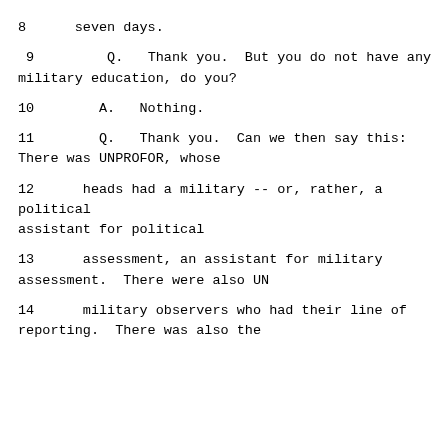8      seven days.
9         Q.   Thank you.  But you do not have any military education, do you?
10        A.   Nothing.
11        Q.   Thank you.  Can we then say this: There was UNPROFOR, whose
12      heads had a military -- or, rather, a political assistant for political
13      assessment, an assistant for military assessment.  There were also UN
14      military observers who had their line of reporting.  There was also the